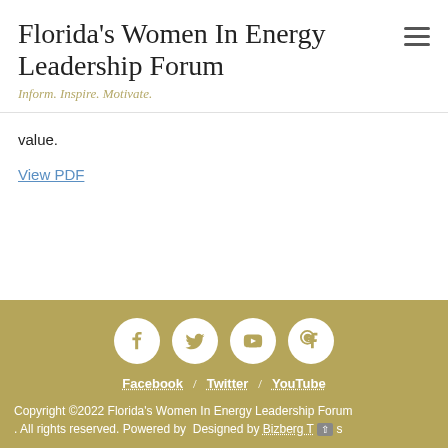Florida's Women In Energy Leadership Forum
Inform. Inspire. Motivate.
value.
View PDF
Facebook / Twitter / YouTube
Copyright ©2022 Florida's Women In Energy Leadership Forum. All rights reserved. Powered by Designed by Bizberg T